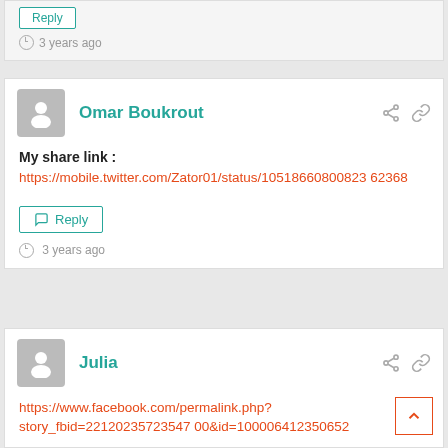Reply
3 years ago
Omar Boukrout
My share link : https://mobile.twitter.com/Zator01/status/1051866080082362368
Reply
3 years ago
Julia
https://www.facebook.com/permalink.php?story_fbid=221202357235470 0&id=100006412350652
Reply